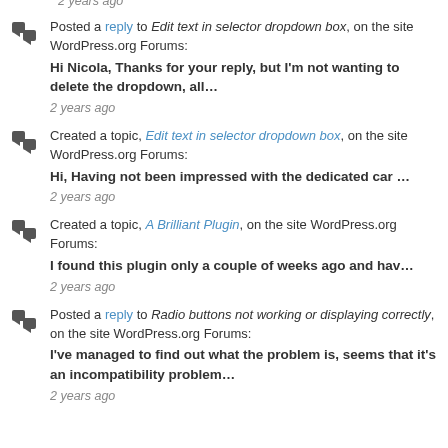2 years ago
Posted a reply to Edit text in selector dropdown box, on the site WordPress.org Forums: Hi Nicola, Thanks for your reply, but I'm not wanting to delete the dropdown, all…
2 years ago
Created a topic, Edit text in selector dropdown box, on the site WordPress.org Forums: Hi, Having not been impressed with the dedicated car …
2 years ago
Created a topic, A Brilliant Plugin, on the site WordPress.org Forums: I found this plugin only a couple of weeks ago and hav…
2 years ago
Posted a reply to Radio buttons not working or displaying correctly, on the site WordPress.org Forums: I've managed to find out what the problem is, seems that it's an incompatibility problem…
2 years ago